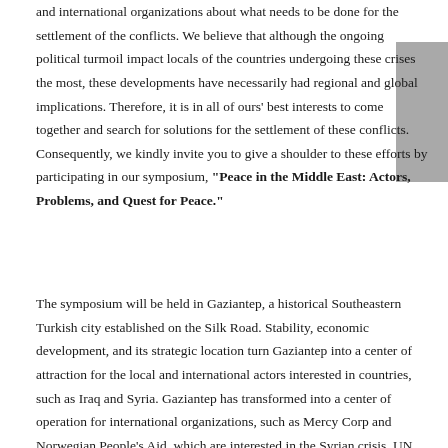and international organizations about what needs to be done for the settlement of the conflicts. We believe that although the ongoing political turmoil impact locals of the countries undergoing these crises the most, these developments have necessarily had regional and global implications. Therefore, it is in all of ours' best interests to come together and search for solutions for the settlement of these conflicts. Consequently, we kindly invite you to give a shoulder to these efforts by participating in our symposium, "Peace in the Middle East: Actors, Problems, and Quest for Peace."
The symposium will be held in Gaziantep, a historical Southeastern Turkish city established on the Silk Road. Stability, economic development, and its strategic location turn Gaziantep into a center of attraction for the local and international actors interested in countries, such as Iraq and Syria. Gaziantep has transformed into a center of operation for international organizations, such as Mercy Corp and Norwegian People's Aid, which are interested in the Syrian crisis. UN has also opened an office in Gaziantep to control their efforts on Syria from this city. Gaziantep has progressively being